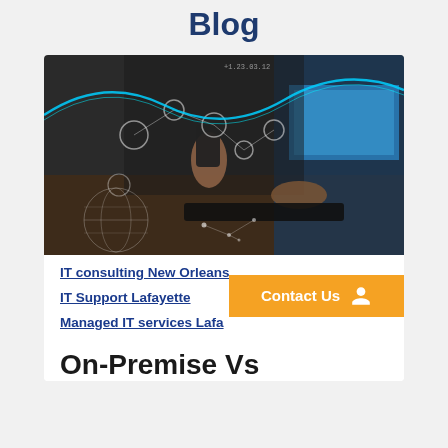Blog
[Figure (photo): Person holding a smartphone while typing on a laptop, with digital network graphics and a globe hologram overlay in a dark tech-themed setting.]
IT consulting New Orleans
IT Support Lafayette
Managed IT services Lafa…
Contact Us
On-Premise Vs